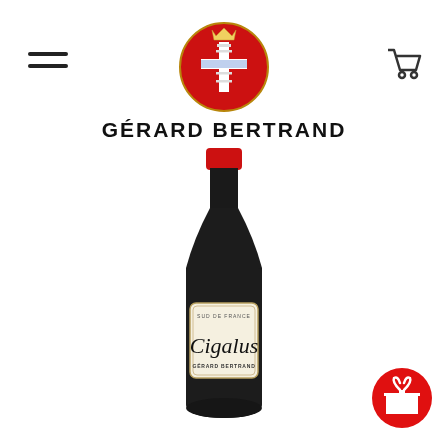[Figure (logo): Gérard Bertrand brand logo: red circular badge with a decorative cross/shield emblem, topped with a crown]
GÉRARD BERTRAND
[Figure (photo): A tall dark wine bottle with a red foil cap and cream-colored label reading 'Cigalus' in cursive script with 'SUD DE FRANCE' above and 'GÉRARD BERTRAND' below]
[Figure (illustration): Red circular button with a white gift box icon in the bottom right corner]